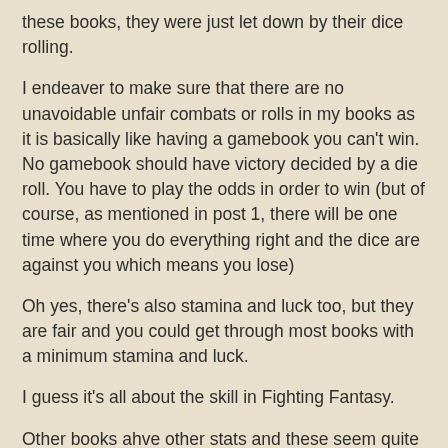these books, they were just let down by their dice rolling.
I endeaver to make sure that there are no unavoidable unfair combats or rolls in my books as it is basically like having a gamebook you can't win. No gamebook should have victory decided by a die roll. You have to play the odds in order to win (but of course, as mentioned in post 1, there will be one time where you do everything right and the dice are against you which means you lose)
Oh yes, there's also stamina and luck too, but they are fair and you could get through most books with a minimum stamina and luck.
I guess it's all about the skill in Fighting Fantasy.
Other books ahve other stats and these seem quite fair, apart from fear in House of Hell. You can't win if it is below a certain value.
If I can't put fair dice rolls in a book, I won't use them at all.